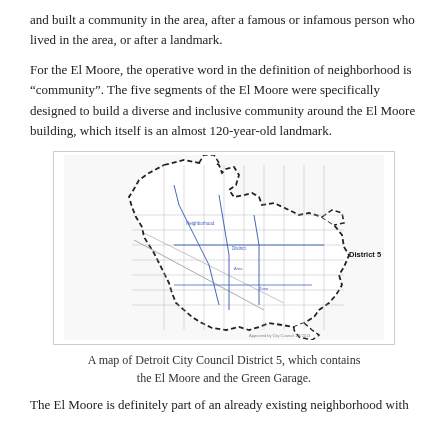and built a community in the area, after a famous or infamous person who lived in the area, or after a landmark.
For the El Moore, the operative word in the definition of neighborhood is “community”. The five segments of the El Moore were specifically designed to build a diverse and inclusive community around the El Moore building, which itself is an almost 120-year-old landmark.
[Figure (map): A map of Detroit City Council District 5, showing neighborhood boundaries with dashed outline and street grid. Label reads 'District 5'. Small text at bottom reads 'Approved by City Council 1/8/2013'.]
A map of Detroit City Council District 5, which contains the El Moore and the Green Garage.
The El Moore is definitely part of an already existing neighborhood with